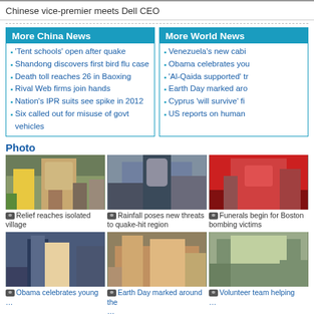Chinese vice-premier meets Dell CEO
More China News
'Tent schools' open after quake
Shandong discovers first bird flu case
Death toll reaches 26 in Baoxing
Rival Web firms join hands
Nation's IPR suits see spike in 2012
Six called out for misuse of govt vehicles
More World News
Venezuela's new cabi…
Obama celebrates yo…
'Al-Qaida supported' tr…
Earth Day marked aro…
Cyprus 'will survive' fi…
US reports on human…
Photo
[Figure (photo): Relief reaches isolated village - people holding quilts/blankets outdoors]
Relief reaches isolated village
[Figure (photo): Rainfall poses new threats to quake-hit region - person in rain]
Rainfall poses new threats to quake-hit region
[Figure (photo): Funerals begin for Boston bombing victims - speaker at podium with Boston University banner]
Funerals begin for Boston bombing victims
[Figure (photo): Obama celebrates young people - Obama with children indoors]
Obama celebrates young…
[Figure (photo): Earth Day marked around the world - colorful crowd outdoors]
Earth Day marked around the…
[Figure (photo): Volunteer team helping - teacher with students in tent classroom]
Volunteer team helping…